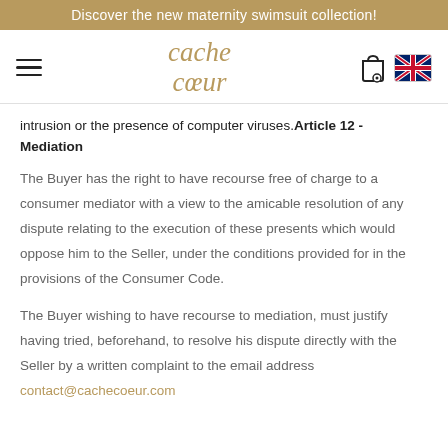Discover the new maternity swimsuit collection!
[Figure (logo): Cache Coeur brand logo with navigation icons (hamburger menu, shopping bag, UK flag)]
intrusion or the presence of computer viruses. Article 12 - Mediation
The Buyer has the right to have recourse free of charge to a consumer mediator with a view to the amicable resolution of any dispute relating to the execution of these presents which would oppose him to the Seller, under the conditions provided for in the provisions of the Consumer Code.
The Buyer wishing to have recourse to mediation, must justify having tried, beforehand, to resolve his dispute directly with the Seller by a written complaint to the email address contact@cachecoeur.com